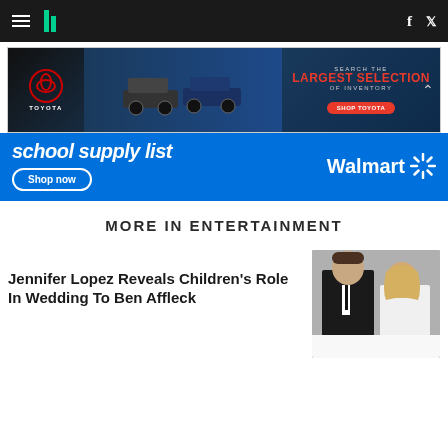HuffPost navigation bar with hamburger menu, logo, Facebook and Twitter icons
[Figure (other): Toyota advertisement: Search the Largest Selection of Inventory - Shop Toyota]
[Figure (other): Walmart advertisement: school supply list - Shop now - Walmart logo]
MORE IN ENTERTAINMENT
Jennifer Lopez Reveals Children's Role In Wedding To Ben Affleck
[Figure (photo): Photo of Ben Affleck and Jennifer Lopez at a formal event]